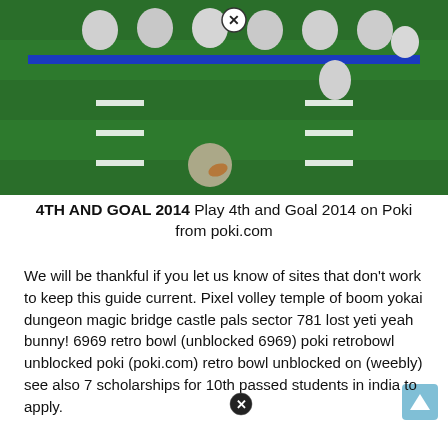[Figure (screenshot): Screenshot of a football video game (4th and Goal 2014) showing a top-down view of a football field with players lined up, yard markers visible, and a blue line near the top. Two close/X buttons visible as circular icons with X marks.]
4TH AND GOAL 2014 Play 4th and Goal 2014 on Poki from poki.com
We will be thankful if you let us know of sites that don't work to keep this guide current. Pixel volley temple of boom yokai dungeon magic bridge castle pals sector 781 lost yeti yeah bunny! 6969 retro bowl (unblocked 6969) poki retrobowl unblocked poki (poki.com) retro bowl unblocked on (weebly) see also 7 scholarships for 10th passed students in india to apply.